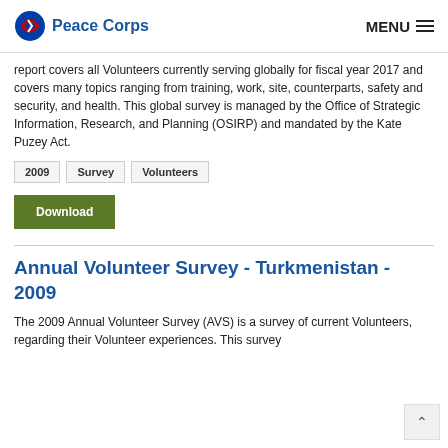Peace Corps | MENU
report covers all Volunteers currently serving globally for fiscal year 2017 and covers many topics ranging from training, work, site, counterparts, safety and security, and health. This global survey is managed by the Office of Strategic Information, Research, and Planning (OSIRP) and mandated by the Kate Puzey Act.
2009
Survey
Volunteers
Download
Annual Volunteer Survey - Turkmenistan - 2009
The 2009 Annual Volunteer Survey (AVS) is a survey of current Volunteers, regarding their Volunteer experiences. This survey